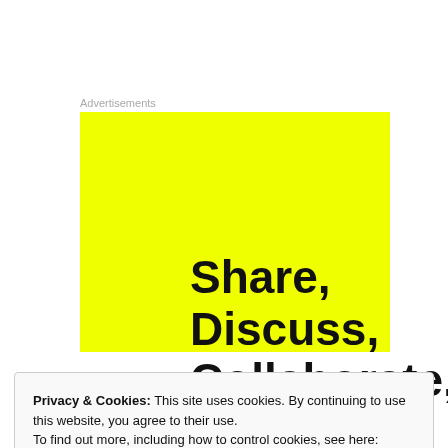Advertisements
[Figure (illustration): Yellow advertisement banner with bold black text reading 'Share, Discuss, Collaborate, P2.']
Privacy & Cookies: This site uses cookies. By continuing to use this website, you agree to their use.
To find out more, including how to control cookies, see here: Cookie Policy
Close and accept